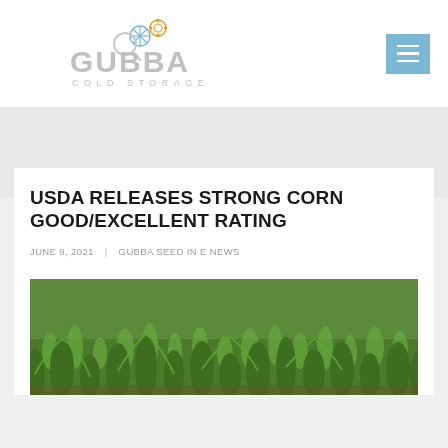GUBBA COLD STORAGE
USDA RELEASES STRONG CORN GOOD/EXCELLENT RATING
JUNE 9, 2021 | GUBBA SEED IN E NEWS
[Figure (photo): Green corn field with young corn plants growing in rows, viewed from above at an angle]